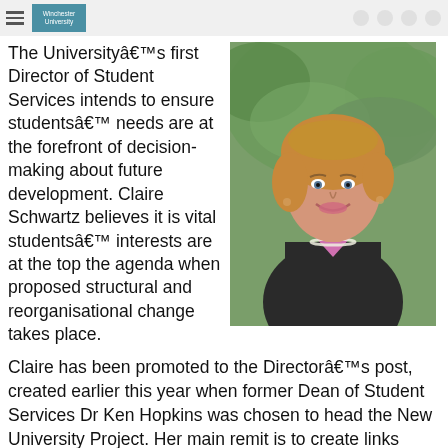Winchester University
The Universityâ€™s first Director of Student Services intends to ensure studentsâ€™ needs are at the forefront of decision-making about future development. Claire Schwartz believes it is vital studentsâ€™ interests are at the top the agenda when proposed structural and reorganisational change takes place.
[Figure (photo): Portrait photo of Claire Schwartz, a woman with short blonde hair wearing a dark blazer with a pink/magenta collar and pearl necklace, smiling in front of green foliage.]
Claire has been promoted to the Directorâ€™s post, created earlier this year when former Dean of Student Services Dr Ken Hopkins was chosen to head the New University Project. Her main remit is to create links between Student Services and the Faculties and Departments who, in turn, are responsible for seeing students receive all the